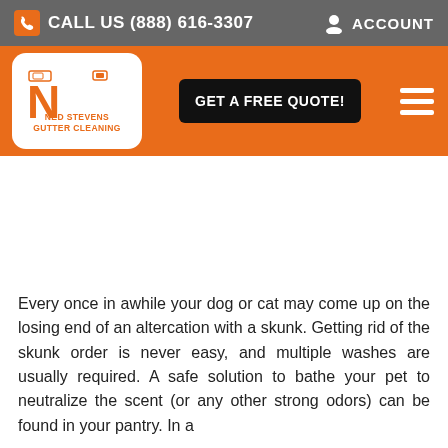CALL US (888) 616-3307  ACCOUNT
[Figure (logo): Ned Stevens Gutter Cleaning logo — orange N on white rounded square background with text NED STEVENS GUTTER CLEANING]
Every once in awhile your dog or cat may come up on the losing end of an altercation with a skunk. Getting rid of the skunk order is never easy, and multiple washes are usually required. A safe solution to bathe your pet to neutralize the scent (or any other strong odors) can be found in your pantry. In a